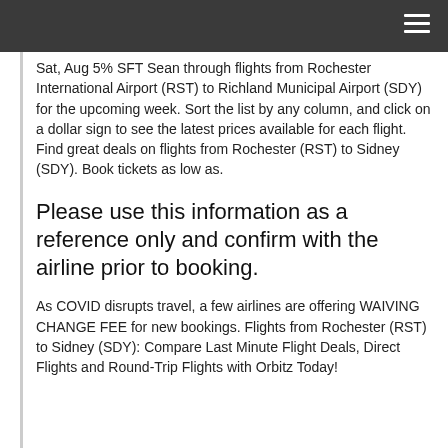Sat, Aug 5% SFT Sean through flights from Rochester International Airport (RST) to Richland Municipal Airport (SDY) for the upcoming week. Sort the list by any column, and click on a dollar sign to see the latest prices available for each flight. Find great deals on flights from Rochester (RST) to Sidney (SDY). Book tickets as low as.
Please use this information as a reference only and confirm with the airline prior to booking.
As COVID disrupts travel, a few airlines are offering WAIVING CHANGE FEE for new bookings. Flights from Rochester (RST) to Sidney (SDY): Compare Last Minute Flight Deals, Direct Flights and Round-Trip Flights with Orbitz Today!